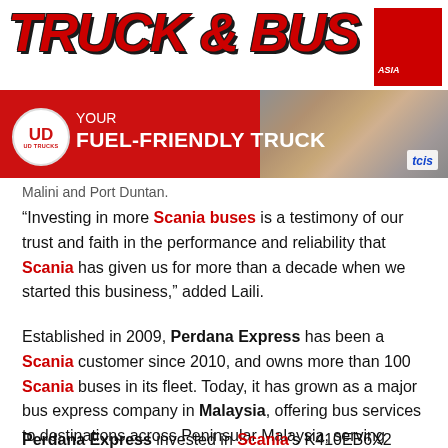[Figure (logo): Truck & Bus Asia magazine logo in red italic bold text with black outline, red box in top right corner]
[Figure (infographic): UD Trucks advertisement banner with red background, UD logo circle, 'YOUR FUEL-FRIENDLY TRUCK' tagline, and truck image on right side with tcis branding]
Malini and Port Duntan.
“Investing in more Scania buses is a testimony of our trust and faith in the performance and reliability that Scania has given us for more than a decade when we started this business,” added Laili.
Established in 2009, Perdana Express has been a Scania customer since 2010, and owns more than 100 Scania buses in its fleet. Today, it has grown as a major bus express company in Malaysia, offering bus services to destinations across Peninsular Malaysia, serving major cities and towns.
Perdana Express invested in Scania’s K410EB6X2 buses